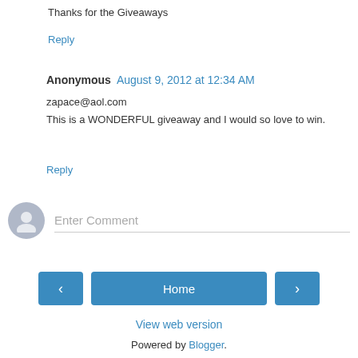Thanks for the Giveaways
Reply
Anonymous  August 9, 2012 at 12:34 AM
zapace@aol.com
This is a WONDERFUL giveaway and I would so love to win.
Reply
[Figure (other): Comment input area with avatar icon and 'Enter Comment' placeholder text field]
< Home >
View web version
Powered by Blogger.